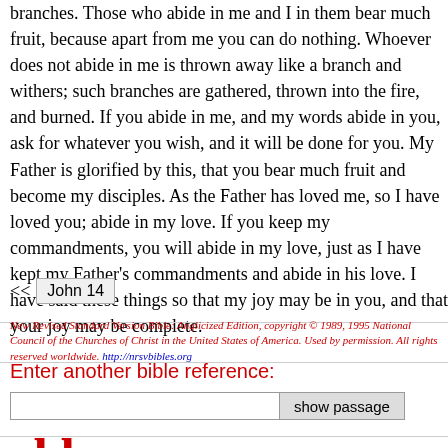branches. Those who abide in me and I in them bear much fruit, because apart from me you can do nothing. Whoever does not abide in me is thrown away like a branch and withers; such branches are gathered, thrown into the fire, and burned. If you abide in me, and my words abide in you, ask for whatever you wish, and it will be done for you. My Father is glorified by this, that you bear much fruit and become my disciples. As the Father has loved me, so I have loved you; abide in my love. If you keep my commandments, you will abide in my love, just as I have kept my Father's commandments and abide in his love. I have said these things to you so that my joy may be in you, and that your joy may be complete.
<< John 14
New Revised Standard Version Bible: Anglicized Edition, copyright © 1989, 1995 National Council of the Churches of Christ in the United States of America. Used by permission. All rights reserved worldwide. http://nrsvbibles.org
Enter another bible reference:
[Figure (screenshot): Text input field and 'show passage' button for entering a bible reference]
[Figure (logo): obb bible browser logo in red]